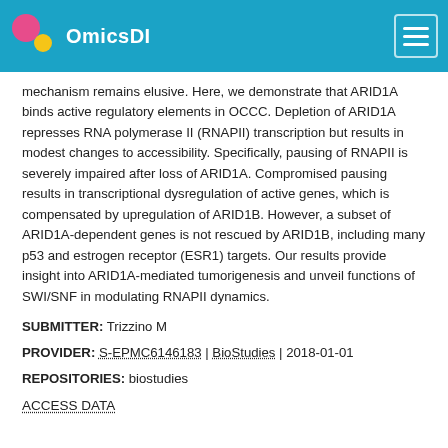OmicsDI
mechanism remains elusive. Here, we demonstrate that ARID1A binds active regulatory elements in OCCC. Depletion of ARID1A represses RNA polymerase II (RNAPII) transcription but results in modest changes to accessibility. Specifically, pausing of RNAPII is severely impaired after loss of ARID1A. Compromised pausing results in transcriptional dysregulation of active genes, which is compensated by upregulation of ARID1B. However, a subset of ARID1A-dependent genes is not rescued by ARID1B, including many p53 and estrogen receptor (ESR1) targets. Our results provide insight into ARID1A-mediated tumorigenesis and unveil functions of SWI/SNF in modulating RNAPII dynamics.
SUBMITTER: Trizzino M
PROVIDER: S-EPMC6146183 | BioStudies | 2018-01-01
REPOSITORIES: biostudies
ACCESS DATA